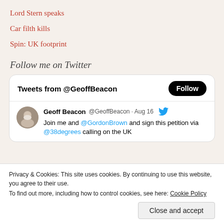Lord Stern speaks
Car filth kills
Spin: UK footprint
Follow me on Twitter
[Figure (screenshot): Twitter widget showing tweets from @GeoffBeacon with a Follow button. A tweet from Geoff Beacon (@GeoffBeacon) dated Aug 16 reads: Join me and @GordonBrown and sign this petition via @38degrees calling on the UK]
Privacy & Cookies: This site uses cookies. By continuing to use this website, you agree to their use. To find out more, including how to control cookies, see here: Cookie Policy
Close and accept